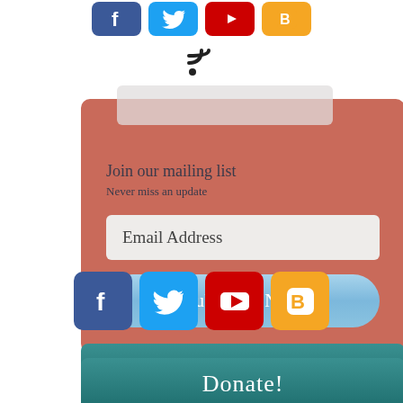[Figure (infographic): Row of four social media icons (Facebook blue, Twitter blue, YouTube red, Blogger orange) cropped at top of page]
[Figure (infographic): RSS feed icon in black]
[Figure (infographic): Mailing list signup widget on salmon/terracotta background with 'Join our mailing list' title, 'Never miss an update' subtitle, Email Address input field, and Subscribe Now button]
[Figure (infographic): Row of four social media icons: Facebook (blue), Twitter (blue), YouTube (red), Blogger (orange)]
[Figure (infographic): Teal gradient banner with cursive text 'Only connect.']
[Figure (infographic): Teal gradient banner with cursive text 'Donate!']